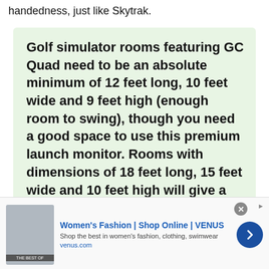handedness, just like Skytrak.
Golf simulator rooms featuring GC Quad need to be an absolute minimum of 12 feet long, 10 feet wide and 9 feet high (enough room to swing), though you need a good space to use this premium launch monitor. Rooms with dimensions of 18 feet long, 15 feet wide and 10 feet high will give a much more
[Figure (other): Advertisement banner for Women's Fashion | Shop Online | VENUS. Shows thumbnail image, headline 'Women's Fashion | Shop Online | VENUS', subtext 'Shop the best in women's fashion, clothing, swimwear', URL 'venus.com', close button, and navigation arrow.]